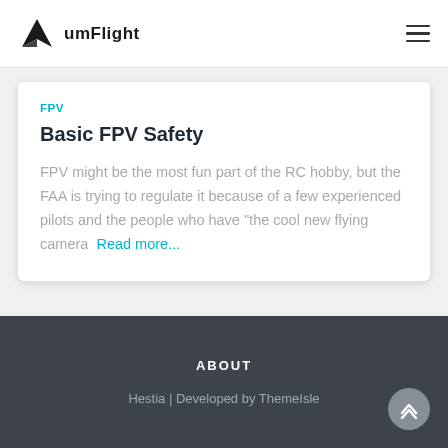umFlight
FPV
Basic FPV Safety
FPV might be the most fun part of the RC hobby, but the FAA is trying to regulate it because of a few experienced pilots and the people who have "the cool new flying camera  Read more...
ABOUT
Hestia | Developed by ThemeIsle